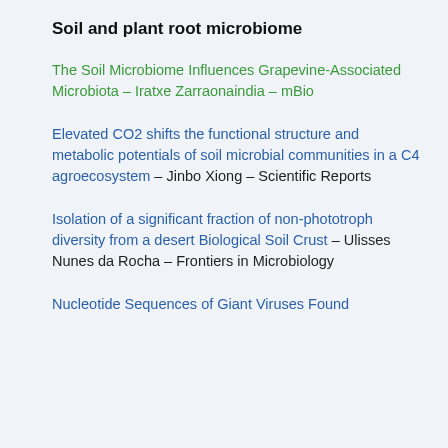Soil and plant root microbiome
The Soil Microbiome Influences Grapevine-Associated Microbiota – Iratxe Zarraonaindia – mBio
Elevated CO2 shifts the functional structure and metabolic potentials of soil microbial communities in a C4 agroecosystem – Jinbo Xiong – Scientific Reports
Isolation of a significant fraction of non-phototroph diversity from a desert Biological Soil Crust – Ulisses Nunes da Rocha – Frontiers in Microbiology
Nucleotide Sequences of Giant Viruses Found